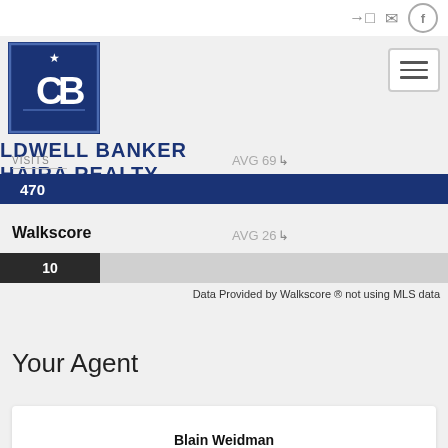[Figure (logo): Coldwell Banker logo - dark blue square with CB monogram and star]
LDWELL BANKER
AIRA REALTY
Visits
AVG 69 ↓
470
Walkscore
AVG 26 ↓
10
Data Provided by Walkscore ® not using MLS data
Your Agent
Blain Weidman
Associate Broker